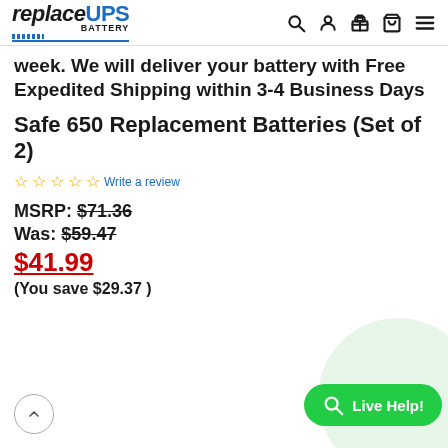replaceUPS BATTERY — navigation bar with search, account, gift, cart, and menu icons
week. We will deliver your battery with Free Expedited Shipping within 3-4 Business Days
Safe 650 Replacement Batteries (Set of 2)
☆☆☆☆☆ Write a review
MSRP: $71.36
Was: $59.47
$41.99
(You save $29.37 )